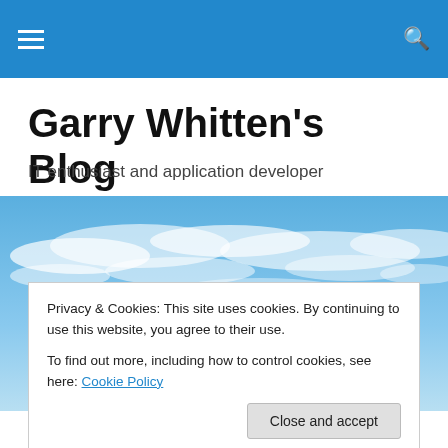Navigation bar with hamburger menu and search icon
Garry Whitten's Blog
IT enthusiast and application developer
[Figure (photo): Wide landscape photo of a blue sky with scattered white clouds]
Privacy & Cookies: This site uses cookies. By continuing to use this website, you agree to their use.
To find out more, including how to control cookies, see here: Cookie Policy
Close and accept
coming soon